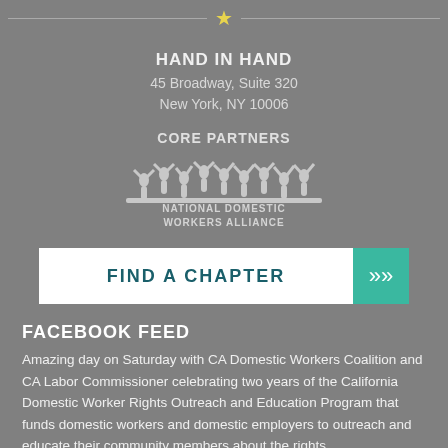[Figure (illustration): Decorative divider with a yellow star centered between two horizontal lines]
HAND IN HAND
45 Broadway, Suite 320
New York, NY 10006
CORE PARTNERS
[Figure (logo): National Domestic Workers Alliance logo — silhouette of raised hands/figures above text reading NATIONAL DOMESTIC WORKERS ALLIANCE]
FIND A CHAPTER
FACEBOOK FEED
Amazing day on Saturday with CA Domestic Workers Coalition and CA Labor Commissioner celebrating two years of the California Domestic Worker Rights Outreach and Education Program that funds domestic workers and domestic employers to outreach and educate their community members about the rights